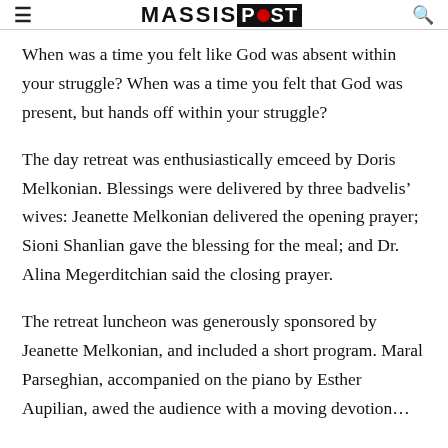MASSIS POST
When was a time you felt like God was absent within your struggle? When was a time you felt that God was present, but hands off within your struggle?
The day retreat was enthusiastically emceed by Doris Melkonian. Blessings were delivered by three badvelis’ wives: Jeanette Melkonian delivered the opening prayer; Sioni Shanlian gave the blessing for the meal; and Dr. Alina Megerditchian said the closing prayer.
The retreat luncheon was generously sponsored by Jeanette Melkonian, and included a short program. Maral Parseghian, accompanied on the piano by Esther Aupilian, awed the audience with a moving devotion...